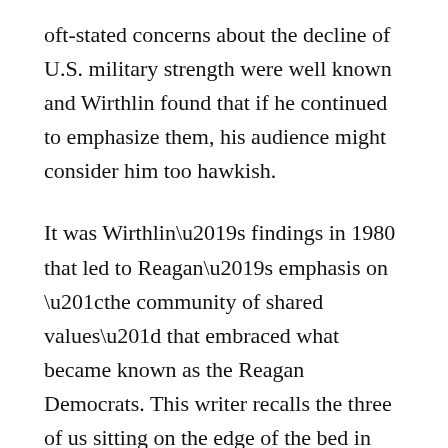oft-stated concerns about the decline of U.S. military strength were well known and Wirthlin found that if he continued to emphasize them, his audience might consider him too hawkish.
It was Wirthlin’s findings in 1980 that led to Reagan’s emphasis on “the community of shared values” that embraced what became known as the Reagan Democrats. This writer recalls the three of us sitting on the edge of the bed in Reagan’s suite in Detroit the day before he was to give his acceptance speech at the July 1980 Republican [National] Convention. We went over the final draft line by line to make sure it had just the mix of